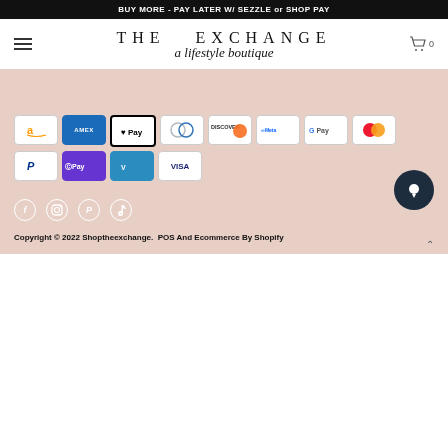BUY MORE - PAY LATER W/ SEZZLE or SHOP PAY
[Figure (logo): The Exchange - a lifestyle boutique logo with hamburger menu and cart icon showing 0 items]
[Figure (infographic): Payment method icons: Amazon, American Express, Apple Pay, Diners Club, Discover, Meta, Google Pay, Mastercard, PayPal, Shop Pay, Venmo, Visa]
[Figure (infographic): Social media icons for Facebook, Instagram, Pinterest, TikTok]
Copyright © 2022 Shoptheexchange.  POS And Ecommerce By Shopify